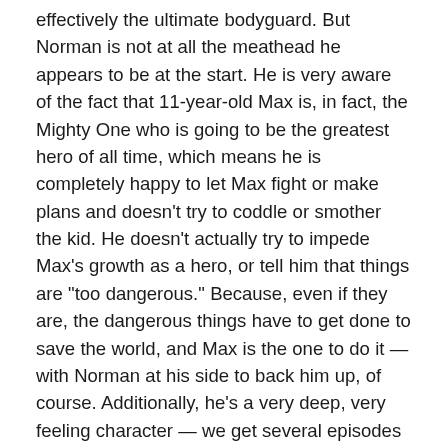effectively the ultimate bodyguard. But Norman is not at all the meathead he appears to be at the start. He is very aware of the fact that 11-year-old Max is, in fact, the Mighty One who is going to be the greatest hero of all time, which means he is completely happy to let Max fight or make plans and doesn't try to coddle or smother the kid. He doesn't actually try to impede Max's growth as a hero, or tell him that things are "too dangerous." Because, even if they are, the dangerous things have to get done to save the world, and Max is the one to do it — with Norman at his side to back him up, of course. Additionally, he's a very deep, very feeling character — we get several episodes about his life and his experiences through time, including the death of his father and his guilt at not being able to protect him. For all Norman looks like he could take on every linebacker on the planet at once and win, he is tender-hearted and almost gentle in disposition (when not kicking asses, obviously).